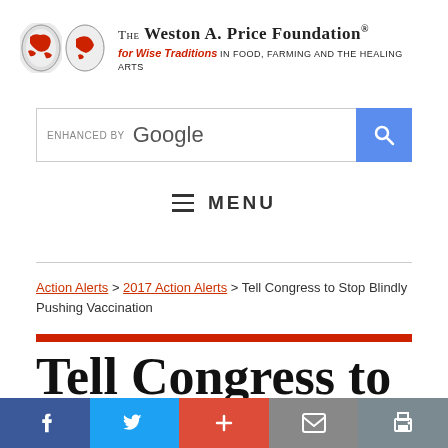[Figure (logo): The Weston A. Price Foundation logo with two globe icons and text reading 'The Weston A. Price Foundation for Wise Traditions in Food, Farming and the Healing Arts']
[Figure (screenshot): Google search bar with 'ENHANCED BY Google' text and blue search button with magnifying glass icon]
≡  MENU
Action Alerts > 2017 Action Alerts > Tell Congress to Stop Blindly Pushing Vaccination
Tell Congress to Stop Blindly Pushing Vaccination